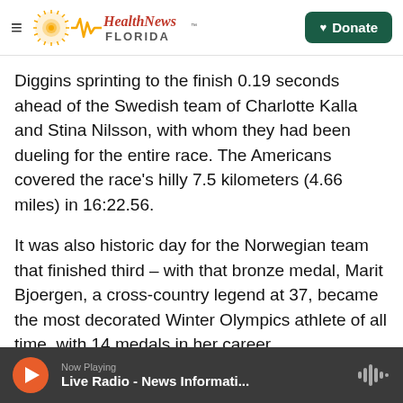Health News Florida — Donate
Diggins sprinting to the finish 0.19 seconds ahead of the Swedish team of Charlotte Kalla and Stina Nilsson, with whom they had been dueling for the entire race. The Americans covered the race's hilly 7.5 kilometers (4.66 miles) in 16:22.56.
It was also historic day for the Norwegian team that finished third – with that bronze medal, Marit Bjoergen, a cross-country legend at 37, became the most decorated Winter Olympics athlete of all time, with 14 medals in her career.
Randall had never finished higher than sixth place
Now Playing — Live Radio - News Informati...